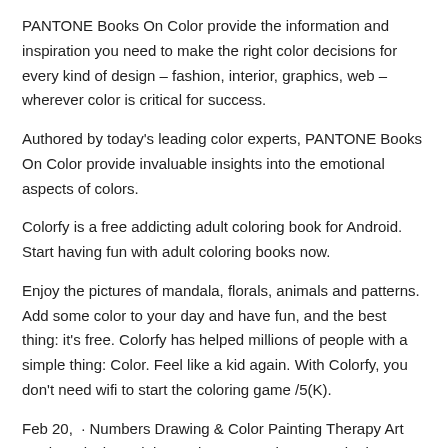PANTONE Books On Color provide the information and inspiration you need to make the right color decisions for every kind of design – fashion, interior, graphics, web – wherever color is critical for success.
Authored by today's leading color experts, PANTONE Books On Color provide invaluable insights into the emotional aspects of colors.
Colorfy is a free addicting adult coloring book for Android. Start having fun with adult coloring books now.
Enjoy the pictures of mandala, florals, animals and patterns. Add some color to your day and have fun, and the best thing: it's free. Colorfy has helped millions of people with a simple thing: Color. Feel like a kid again. With Colorfy, you don't need wifi to start the coloring game /5(K).
Feb 20,  · Numbers Drawing & Color Painting Therapy Art Book, Relaxing Adult Puzzle Pages. Chamy - Color by Number. Easybrain. Coloring book: paint by number to dive into color therapy and relaxation.